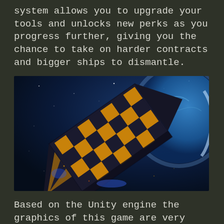system allows you to upgrade your tools and unlocks new perks as you progress further, giving you the chance to take on harder contracts and bigger ships to dismantle.
[Figure (photo): A science fiction spaceship with black and yellow/gold checkered panels floating in space with a planet visible in the background.]
Based on the Unity engine the graphics of this game are very nice – ships and parts all have a distinct graphic and even the scale